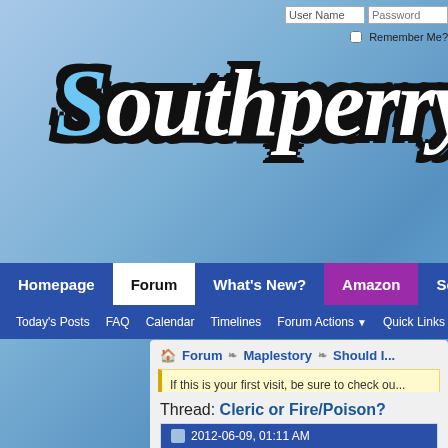[Figure (screenshot): Southperry.net logo with stylized italic text on blue background with dark cloud-like shadow/outline effect]
User Name | Password | Remember Me?
Homepage | Forum | What's New? | Amazon | Social
Today's Posts | FAQ | Calendar | Timelines | Forum Actions ▼ | Quick Links ▼ | IRC
Forum ❧ Maplestory ❧ Should I...
If this is your first visit, be sure to check ou... registration is not required to view most co... messages, just select the forum that you w...
Thread: Cleric or Fire/Poison?
2012-06-09, 01:11 AM